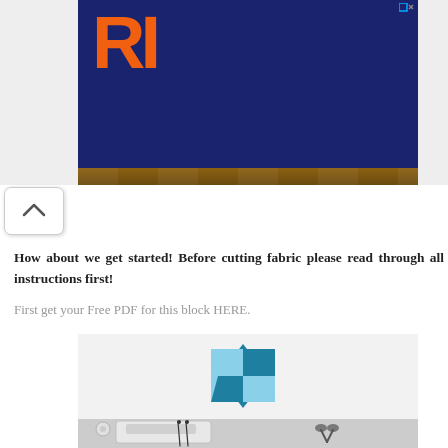[Figure (photo): Advertisement banner with orange 'RI' letters on dark navy blue background, with a close button in top right corner. Below it is a thin strip showing a wooden surface photo.]
[Figure (illustration): Scroll-up / collapse button with an upward caret arrow icon on white rounded rectangle background.]
How about we get started! Before cutting fabric please read through all instructions first!
First get your Free PDF for this block HERE.
[Figure (photo): Photo of a quilt block pinwheel/star pattern in two shades of blue (light and dark teal) mounted on a white wall, with sewing supplies including a sewing machine, scissors, and thread on a table below.]